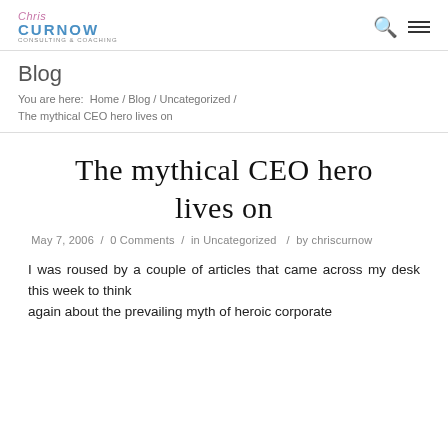Chris Curnow [logo]
Blog
You are here: Home / Blog / Uncategorized / The mythical CEO hero lives on
The mythical CEO hero lives on
May 7, 2006 / 0 Comments / in Uncategorized / by chriscurnow
I was roused by a couple of articles that came across my desk this week to think again about the prevailing myth of heroic corporate